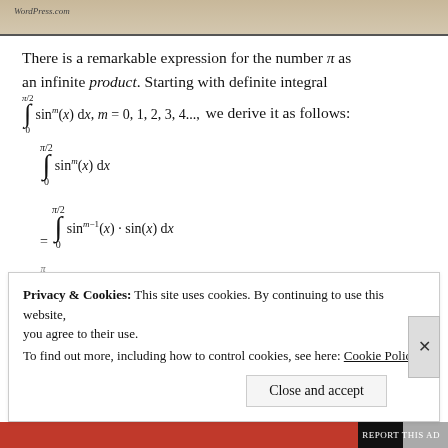[Figure (screenshot): Page header with decorative image strip showing a historical/mathematical illustration]
There is a remarkable expression for the number π as an infinite product. Starting with definite integral ∫₀^(π/2) sinᵐ(x) dx, m = 0, 1, 2, 3, 4..., we derive it as follows:
Privacy & Cookies: This site uses cookies. By continuing to use this website, you agree to their use. To find out more, including how to control cookies, see here: Cookie Policy
Close and accept